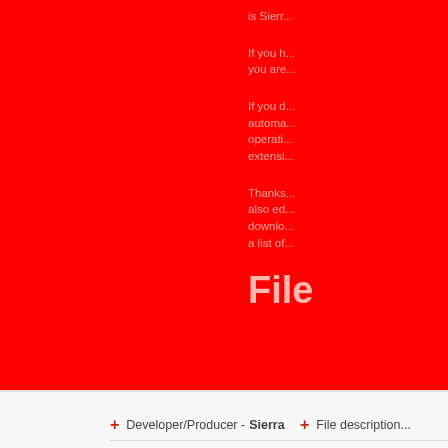is Sierr...
If you h... you are...
If you d... automa... operati... extensi...
Thanks... also ed... downlo... a list of...
File
Developer/Producer - Sierra
File description...